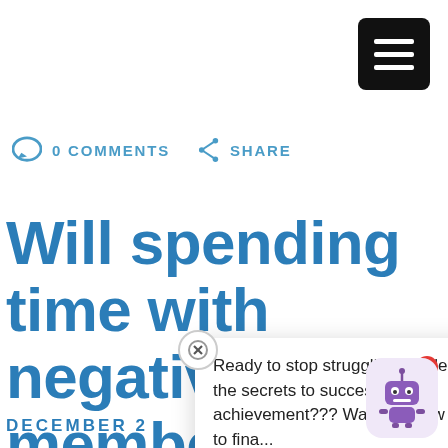[Figure (other): Hamburger menu button (three white bars on black rounded square)]
0 COMMENTS   SHARE
Will spending time with negative family members deter my growt
Ready to stop struggling and learn the secrets to successful achievement??? Want to know how to fina...
DECEMBER 2